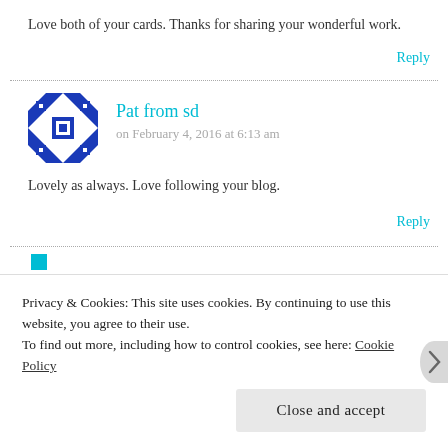Love both of your cards. Thanks for sharing your wonderful work.
Reply
[Figure (illustration): Blue geometric quilt-pattern avatar icon for Pat from sd]
Pat from sd
on February 4, 2016 at 6:13 am
Lovely as always. Love following your blog.
Reply
Privacy & Cookies: This site uses cookies. By continuing to use this website, you agree to their use.
To find out more, including how to control cookies, see here: Cookie Policy
Close and accept